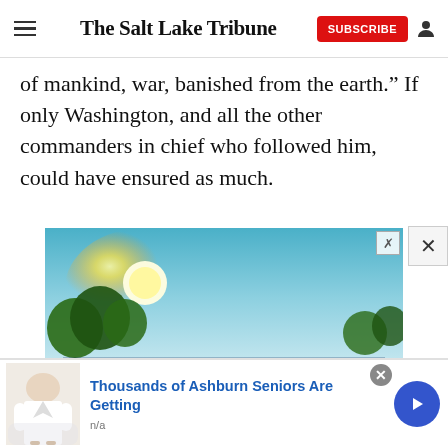The Salt Lake Tribune
of mankind, war, banished from the earth.” If only Washington, and all the other commanders in chief who followed him, could have ensured as much.
[Figure (photo): Solar panels in a field with bright sunlight and green trees in the background (advertisement image)]
Thousands of Ashburn Seniors Are Getting
n/a